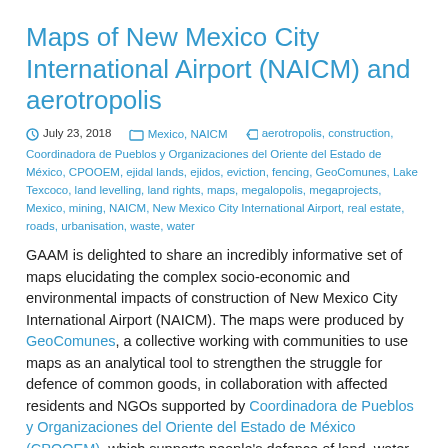Maps of New Mexico City International Airport (NAICM) and aerotropolis
July 23, 2018   Mexico, NAICM   aerotropolis, construction, Coordinadora de Pueblos y Organizaciones del Oriente del Estado de México, CPOOEM, ejidal lands, ejidos, eviction, fencing, GeoComunes, Lake Texcoco, land levelling, land rights, maps, megalopolis, megaprojects, Mexico, mining, NAICM, New Mexico City International Airport, real estate, roads, urbanisation, waste, water
GAAM is delighted to share an incredibly informative set of maps elucidating the complex socio-economic and environmental impacts of construction of New Mexico City International Airport (NAICM). The maps were produced by GeoComunes, a collective working with communities to use maps as an analytical tool to strengthen the struggle for defence of common goods, in collaboration with affected residents and NGOs supported by Coordinadora de Pueblos y Organizaciones del Oriente del Estado de México (CPOOEM), which supports people's defence of land, water and culture in eastern Mexico. The NAICM site,